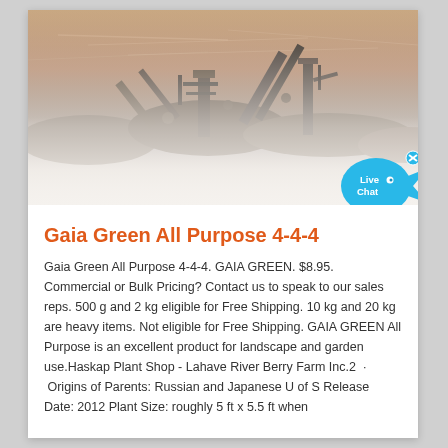[Figure (photo): Industrial mining equipment with conveyor belts and large machinery silhouetted against an orange-pink sunset sky, with misty/foggy foreground]
Gaia Green All Purpose 4-4-4
Gaia Green All Purpose 4-4-4. GAIA GREEN. $8.95. Commercial or Bulk Pricing? Contact us to speak to our sales reps. 500 g and 2 kg eligible for Free Shipping. 10 kg and 20 kg are heavy items. Not eligible for Free Shipping. GAIA GREEN All Purpose is an excellent product for landscape and garden use.Haskap Plant Shop - Lahave River Berry Farm Inc.2 · Origins of Parents: Russian and Japanese U of S Release Date: 2012 Plant Size: roughly 5 ft x 5.5 ft when